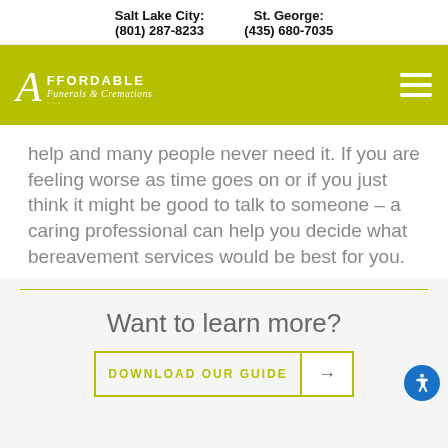Salt Lake City: (801) 287-8233   St. George: (435) 680-7035
[Figure (logo): Affordable Funerals & Cremations logo with olive/yellow-green background and hamburger menu icon]
help and many people never need it. If you are feeling worse as time goes on or if you just think it might be good to talk to someone – a caring professional can help you decide what bereavement services would be best for you.
Want to learn more?
DOWNLOAD OUR GUIDE →